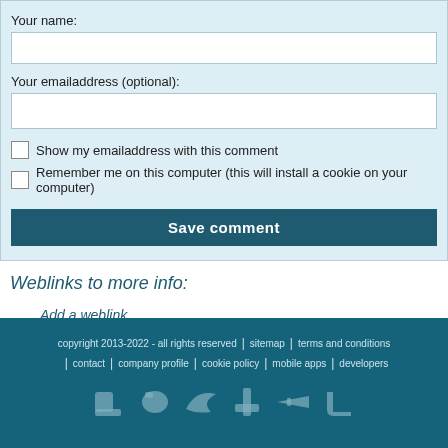Your name:
Your emailaddress (optional):
Show my emailaddress with this comment
Remember me on this computer (this will install a cookie on your computer)
Save comment
Weblinks to more info:
Add a weblink
copyright 2013-2022 - all rights reserved | sitemap | terms and conditions | contact | company profile | cookie policy | mobile apps | developers